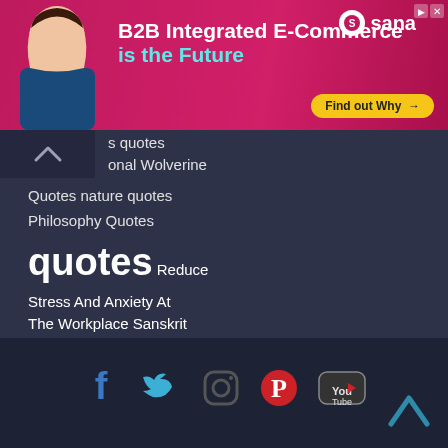[Figure (infographic): Advertisement banner: B2B Integrated E-Commerce is the Future, Sana logo, Find out Why button, woman photo on pink/red background]
s quotes
onal Wolverine
Quotes nature quotes
Philosophy Quotes
quotes Reduce Stress And Anxiety At The Workplace Sanskrit Quotes Stop Watching TV stories Successful Women Quotes Tony Robbins quotes
[Figure (infographic): Footer with social media icons: Facebook, Twitter, Instagram, Pinterest, YouTube, and a back-to-top chevron arrow]